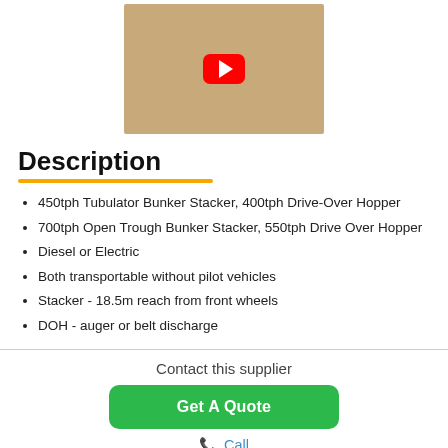[Figure (photo): YouTube video thumbnail showing cardboard boxes with a red YouTube play button overlay]
Description
450tph Tubulator Bunker Stacker, 400tph Drive-Over Hopper
700tph Open Trough Bunker Stacker, 550tph Drive Over Hopper
Diesel or Electric
Both transportable without pilot vehicles
Stacker - 18.5m reach from front wheels
DOH - auger or belt discharge
Contact this supplier
Get A Quote
📞 Call